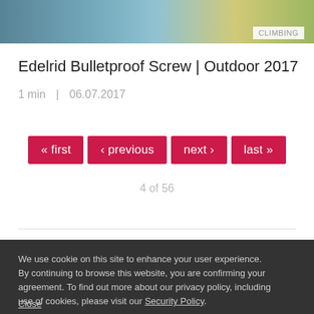[Figure (photo): Outdoor climbing photo strip at top of page with tag 'CLIMBING']
Edelrid Bulletproof Screw | Outdoor 2017
1 min  |  06.07.2017
« first  ‹ previous  next ›  last »  —  4 of 56
We use cookie on this site to enhance your user experience. By continuing to browse this website, you are confirming your agreement. To find out more about our privacy policy, including use of cookies, please visit our Security Policy.
Close